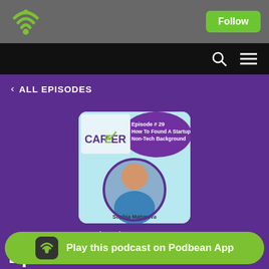[Figure (screenshot): Podbean podcast app page showing Episode 29 of Career podcast with Sophia Matveeva]
Follow
< ALL EPISODES
[Figure (photo): Episode 29 cover art showing Sophia Matveeva with text: Episode # 29 How To Found A Startup With A Non-Tech Background]
Wednesday Mar 02, 2022
Episode 29. How To Found A Startup With A Non-Tech Bn.
Play this podcast on Podbean App